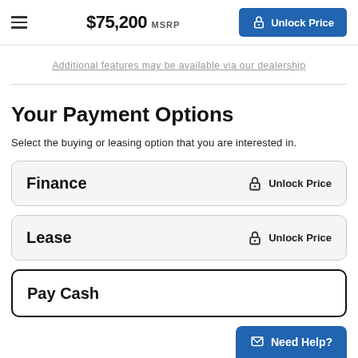$75,200 MSRP  Unlock Price
Additional features may be available via our dealership
Your Payment Options
Select the buying or leasing option that you are interested in.
Finance  Unlock Price
Lease  Unlock Price
Pay Cash
Need Help?